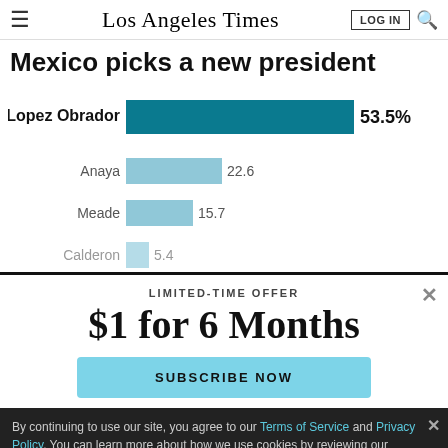Los Angeles Times
Mexico picks a new president
[Figure (bar-chart): Mexico picks a new president]
LIMITED-TIME OFFER
$1 for 6 Months
SUBSCRIBE NOW
By continuing to use our site, you agree to our Terms of Service and Privacy Policy. You can learn more about how we use cookies by reviewing our Privacy Policy. Close